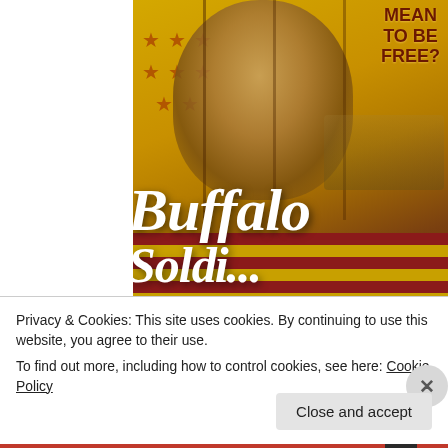[Figure (illustration): Book cover for 'Buffalo Soldiers' with subtitle text 'MEAN TO BE FREE?' at top right. Cover shows a close-up face of a person with a yellow-golden background, American flag stars on the left side, horseback riders scene on the right, and the title 'Buffalo Sol...' in large white italic script at the bottom. Red and gold flag stripes at the bottom of the cover.]
Privacy & Cookies: This site uses cookies. By continuing to use this website, you agree to their use.
To find out more, including how to control cookies, see here: Cookie Policy
[Figure (other): Close button (X in a circle) on the right side of the cookie banner]
[Figure (other): Close and accept button at the bottom right of the cookie banner]